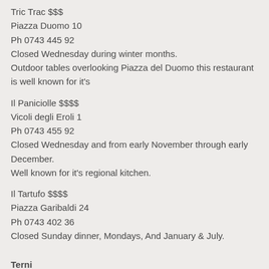Tric Trac $$$
Piazza Duomo 10
Ph 0743 445 92
Closed Wednesday during winter months.
Outdoor tables overlooking Piazza del Duomo this restaurant is well known for it's
Il Paniciolle $$$$
Vicoli degli Eroli 1
Ph 0743 455 92
Closed Wednesday and from early November through early December.
Well known for it's regional kitchen.
Il Tartufo $$$$
Piazza Garibaldi 24
Ph 0743 402 36
Closed Sunday dinner, Mondays, And January & July.
Terni
La Mora
Strada S, Martino 44
Ph 0744 421 256
Closed Tuesday